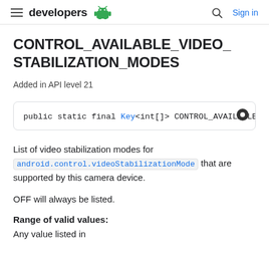developers
CONTROL_AVAILABLE_VIDEO_STABILIZATION_MODES
Added in API level 21
public static final Key<int[]> CONTROL_AVAILABLE_VID
List of video stabilization modes for android.control.videoStabilizationMode that are supported by this camera device.
OFF will always be listed.
Range of valid values:
Any value listed in